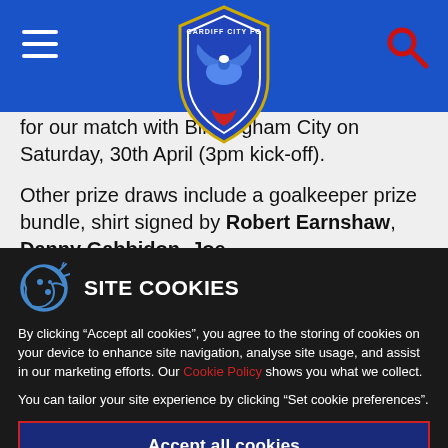Cardiff City FC navigation header with hamburger menu, logo, and search icon
for our match with Birmingham City on Saturday, 30th April (3pm kick-off).
Other prize draws include a goalkeeper prize bundle, shirt signed by Robert Earnshaw, Danny Gabbidon, Joe
SITE COOKIES
By clicking “Accept all cookies”, you agree to the storing of cookies on your device to enhance site navigation, analyse site usage, and assist in our marketing efforts. Our Cookie Policy shows you what we collect.
You can tailor your site experience by clicking “Set cookie preferences”.
Accept all cookies